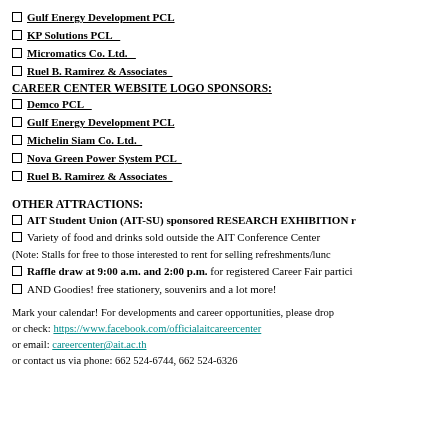Gulf Energy Development PCL
KP Solutions PCL
Micromatics Co. Ltd.
Ruel B. Ramirez & Associates
CAREER CENTER WEBSITE LOGO SPONSORS:
Demco PCL
Gulf Energy Development PCL
Michelin Siam Co. Ltd.
Nova Green Power System PCL
Ruel B. Ramirez & Associates
OTHER ATTRACTIONS:
AIT Student Union (AIT-SU) sponsored RESEARCH EXHIBITION r
Variety of food and drinks sold outside the AIT Conference Center
(Note: Stalls for free to those interested to rent for selling refreshments/lunc
Raffle draw at 9:00 a.m. and 2:00 p.m. for registered Career Fair partici
AND Goodies! free stationery, souvenirs and a lot more!
Mark your calendar! For developments and career opportunities, please drop
or check: https://www.facebook.com/officialaitcareercenter
or email: careercenter@ait.ac.th
or contact us via phone: 662 524-6744, 662 524-6326